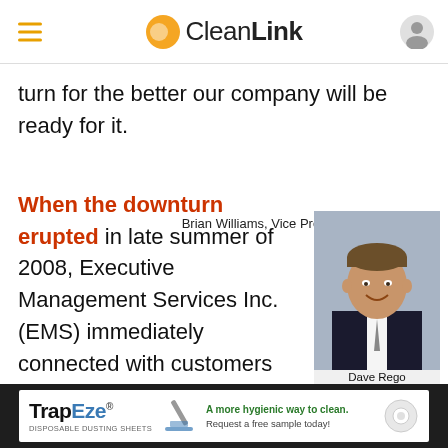CleanLink
turn for the better our company will be ready for it.
Brian Williams, Vice President of Marketing
AccuClean Inc.
Atlanta
When the downturn erupted in late summer of 2008, Executive Management Services Inc. (EMS) immediately connected with customers
[Figure (photo): Headshot of Dave Rego, man in dark suit with light tie, smiling]
Dave Rego
[Figure (infographic): TrapEze advertisement banner: TrapEze Disposable Dusting Sheets - A more hygienic way to clean. Request a free sample today!]